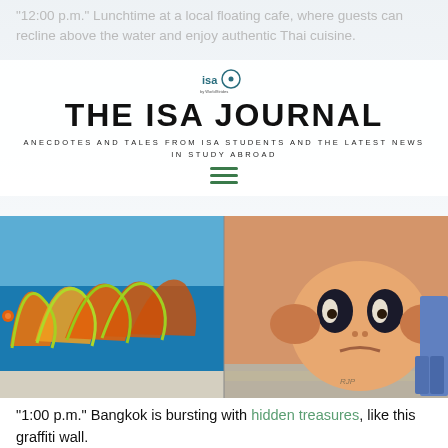“12:00 p.m.” Lunchtime at a local floating cafe, where guests can recline above the water and enjoy authentic Thai cuisine.
[Figure (logo): ISA by WorldStrides logo]
THE ISA JOURNAL
ANECDOTES AND TALES FROM ISA STUDENTS AND THE LATEST NEWS IN STUDY ABROAD
[Figure (photo): Two-panel street art photo: left panel shows colorful graffiti with orange, yellow-green, and blue colors; right panel shows a large mural of a cartoon-like round face character with a person standing next to it]
“1:00 p.m.” Bangkok is bursting with hidden treasures, like this graffiti wall.